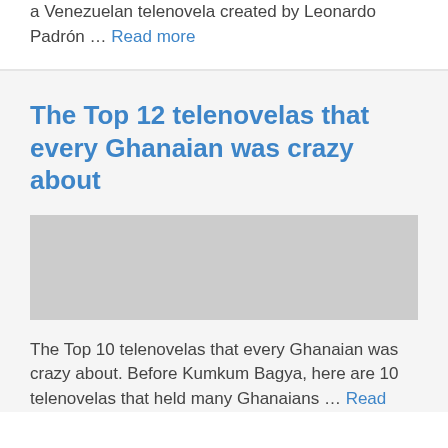a Venezuelan telenovela created by Leonardo Padrón … Read more
The Top 12 telenovelas that every Ghanaian was crazy about
[Figure (photo): Image placeholder for the article about Top 12 telenovelas that every Ghanaian was crazy about]
The Top 10 telenovelas that every Ghanaian was crazy about. Before Kumkum Bagya, here are 10 telenovelas that held many Ghanaians … Read